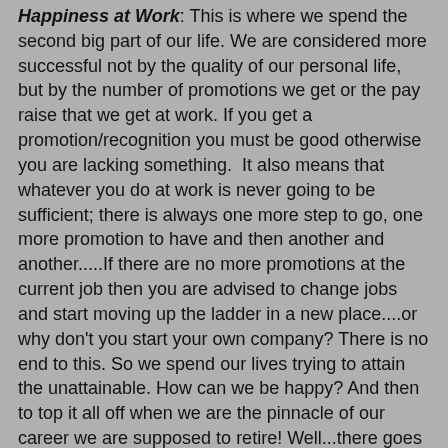Happiness at Work: This is where we spend the second big part of our life. We are considered more successful not by the quality of our personal life, but by the number of promotions we get or the pay raise that we get at work. If you get a promotion/recognition you must be good otherwise you are lacking something.  It also means that whatever you do at work is never going to be sufficient; there is always one more step to go, one more promotion to have and then another and another.....If there are no more promotions at the current job then you are advised to change jobs and start moving up the ladder in a new place....or why don't you start your own company? There is no end to this. So we spend our lives trying to attain the unattainable. How can we be happy? And then to top it all off when we are the pinnacle of our career we are supposed to retire! Well...there goes all the hard work - what am I supposed to do now?
Of course all the above is not true for anyone who loves their work, enjoys it and finds happiness in it. And these are people who have a pleasant disposition and are a joy to work with.
Happiness from Personal relationships...